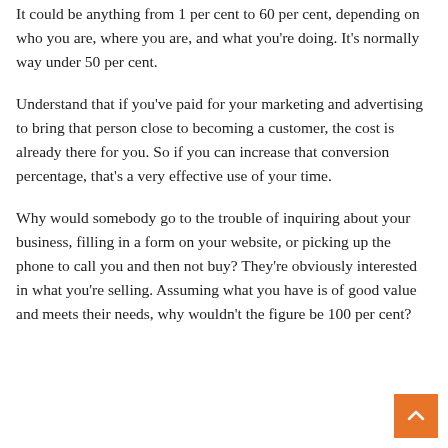It could be anything from 1 per cent to 60 per cent, depending on who you are, where you are, and what you're doing. It's normally way under 50 per cent.
Understand that if you've paid for your marketing and advertising to bring that person close to becoming a customer, the cost is already there for you. So if you can increase that conversion percentage, that's a very effective use of your time.
Why would somebody go to the trouble of inquiring about your business, filling in a form on your website, or picking up the phone to call you and then not buy? They're obviously interested in what you're selling. Assuming what you have is of good value and meets their needs, why wouldn't the figure be 100 per cent?